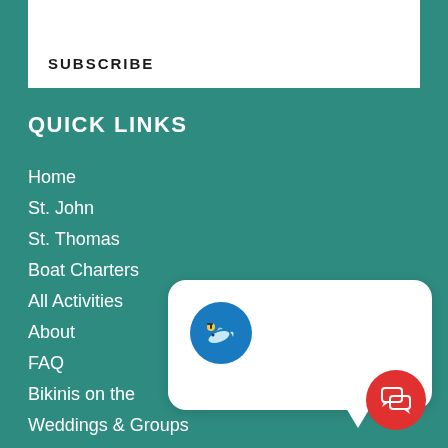SUBSCRIBE
QUICK LINKS
Home
St. John
St. Thomas
Boat Charters
All Activities
About
FAQ
Bikinis on the
Weddings & Groups
Blog
Contact
[Figure (illustration): Chat popup with a circular avatar containing a dolphin/snorkeling logo, and a red chat button at bottom right]